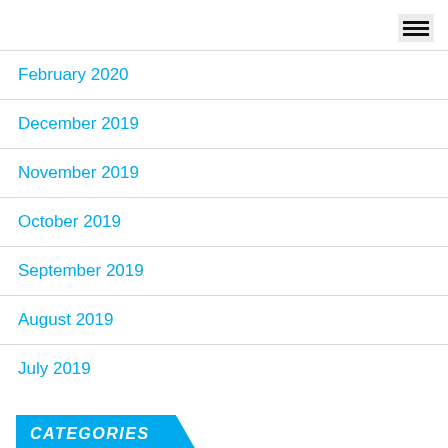February 2020
December 2019
November 2019
October 2019
September 2019
August 2019
July 2019
CATEGORIES
Art and Design
Business Services